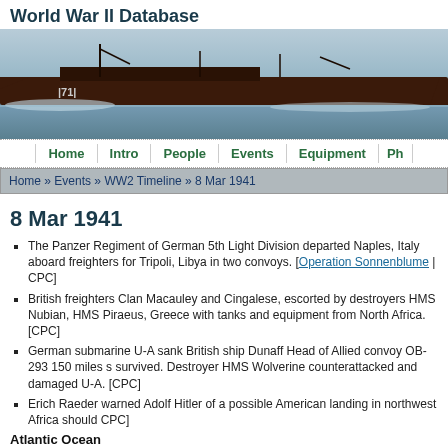World War II Database
[Figure (photo): Black and white photo of a large military ship (numbered 171) underway at sea, viewed from the side, with a grey sky and calm water.]
Home | Intro | People | Events | Equipment | Ph...
Home » Events » WW2 Timeline » 8 Mar 1941
8 Mar 1941
The Panzer Regiment of German 5th Light Division departed Naples, Italy aboard freighters for Tripoli, Libya in two convoys. [Operation Sonnenblume | CPC]
British freighters Clan Macauley and Cingalese, escorted by destroyers HMS Nubian, HMS ... Piraeus, Greece with tanks and equipment from North Africa. [CPC]
German submarine U-A sank British ship Dunaff Head of Allied convoy OB-293 150 miles s... survived. Destroyer HMS Wolverine counterattacked and damaged U-A. [CPC]
Erich Raeder warned Adolf Hitler of a possible American landing in northwest Africa should... CPC]
Atlantic Ocean
Off Western Africa, German submarines U-105, U-106, and U-124 received sighting reports Scharnhorst and Gneisenau. They searched for the escorting battleship HMS Malaya in failu...